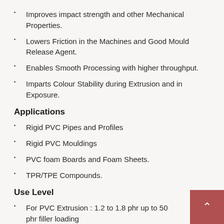Improves impact strength and other Mechanical Properties.
Lowers Friction in the Machines and Good Mould Release Agent.
Enables Smooth Processing with higher throughput.
Imparts Colour Stability during Extrusion and in Exposure.
Applications
Rigid PVC Pipes and Profiles
Rigid PVC Mouldings
PVC foam Boards and Foam Sheets.
TPR/TPE Compounds.
Use Level
For PVC Extrusion : 1.2 to 1.8 phr up to 50 phr filler loading